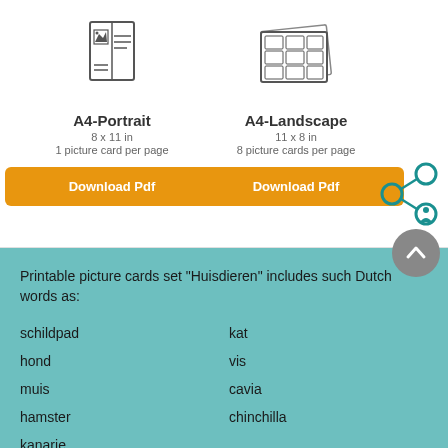[Figure (illustration): A4-Portrait icon: folded card with mountain/photo image inside]
A4-Portrait
8 x 11 in
1 picture card per page
[Figure (illustration): Download Pdf button (orange) for A4-Portrait]
[Figure (illustration): A4-Landscape icon: sheet with multiple small picture cards in grid]
A4-Landscape
11 x 8 in
8 picture cards per page
[Figure (illustration): Download Pdf button (orange) for A4-Landscape]
[Figure (illustration): Share/network icon (teal circles connected)]
[Figure (illustration): Back-to-top circular grey button with up-chevron]
Printable picture cards set "Huisdieren" includes such Dutch words as:
schildpad
kat
hond
vis
muis
cavia
hamster
chinchilla
kanarie